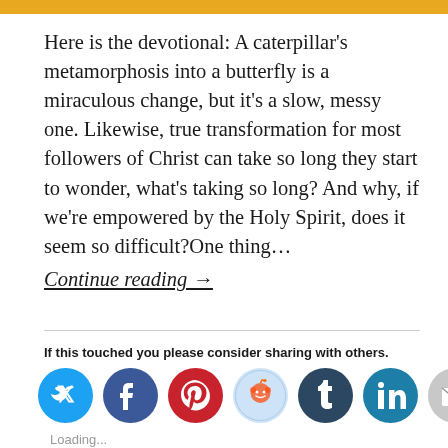[Figure (other): Gold horizontal bar at top of page]
Here is the devotional: A caterpillar's metamorphosis into a butterfly is a miraculous change, but it's a slow, messy one. Likewise, true transformation for most followers of Christ can take so long they start to wonder, what's taking so long? And why, if we're empowered by the Holy Spirit, does it seem so difficult?One thing… Continue reading →
If this touched you please consider sharing with others.
[Figure (infographic): Social media sharing icon buttons: Twitter (blue), Facebook (blue), Pinterest (red), Reddit (light blue), Tumblr (dark navy), LinkedIn (teal), Email (grey)]
Loading...